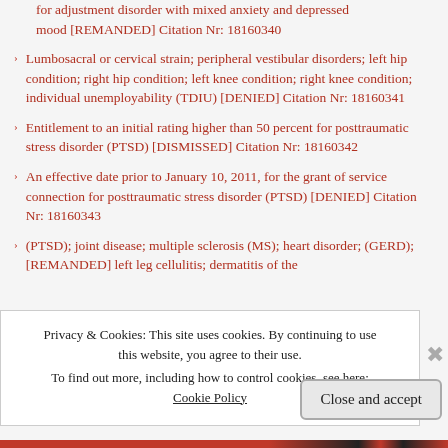for adjustment disorder with mixed anxiety and depressed mood [REMANDED] Citation Nr: 18160340
Lumbosacral or cervical strain; peripheral vestibular disorders; left hip condition; right hip condition; left knee condition; right knee condition; individual unemployability (TDIU) [DENIED] Citation Nr: 18160341
Entitlement to an initial rating higher than 50 percent for posttraumatic stress disorder (PTSD) [DISMISSED] Citation Nr: 18160342
An effective date prior to January 10, 2011, for the grant of service connection for posttraumatic stress disorder (PTSD) [DENIED] Citation Nr: 18160343
(PTSD); joint disease; multiple sclerosis (MS); heart disorder; (GERD); [REMANDED] left leg cellulitis; dermatitis of the
Privacy & Cookies: This site uses cookies. By continuing to use this website, you agree to their use. To find out more, including how to control cookies, see here: Cookie Policy
Close and accept